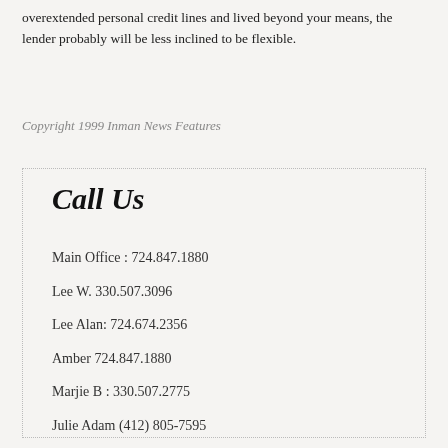overextended personal credit lines and lived beyond your means, the lender probably will be less inclined to be flexible.
Copyright 1999 Inman News Features
Call Us
Main Office : 724.847.1880
Lee W. 330.507.3096
Lee Alan: 724.674.2356
Amber 724.847.1880
Marjie B : 330.507.2775
Julie Adam (412) 805-7595